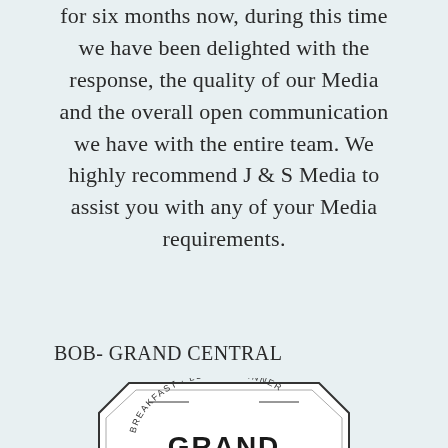for six months now, during this time we have been delighted with the response, the quality of our Media and the overall open communication we have with the entire team. We highly recommend J & S Media to assist you with any of your Media requirements.
BOB- GRAND CENTRAL
[Figure (logo): Grand Central restaurant logo — octagonal border with 'BREAKFAST · LUNCH · DINNER' arched text and 'GRAND CENTRAL' bold text in the center]